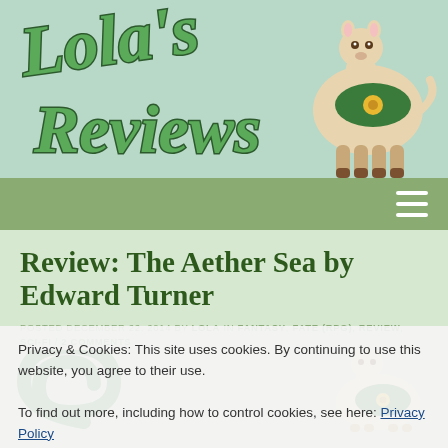[Figure (logo): Lola's Reviews blog header with green script logo text and illustrated llama on light teal/mint background]
navigation bar with hamburger menu icon
Review: The Aether Sea by Edward Turner
POSTED DECEMBER 22, 2014 BY LOLA IN FANTASY, FATE (RPG), REVIEW, SCI-FI / 2 COMMENTS
Privacy & Cookies: This site uses cookies. By continuing to use this website, you agree to their use.
To find out more, including how to control cookies, see here: Privacy Policy
[Close and accept]
[Figure (illustration): Partial view of green spiral/book cover decoration and small llama illustration at the bottom of the page]